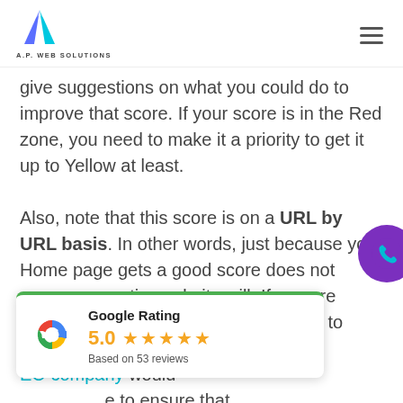A.P. WEB SOLUTIONS
give suggestions on what you could do to improve that score. If your score is in the Red zone, you need to make it a priority to get it up to Yellow at least.

Also, note that this score is on a URL by URL basis. In other words, just because your Home page gets a good score does not mean your entire website will. If you are trying to rank an inner page, you need to ... These are the ... SEO company would ... to ensure that ... ack in your rankings.
[Figure (other): Google Rating card: 5.0 stars, Based on 53 reviews, with Google G logo and green top border]
[Figure (other): Purple circular phone call button on right side of page]